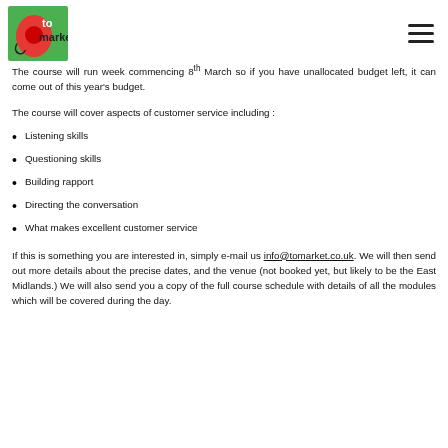to market logo and navigation
The course will run week commencing 8th March so if you have unallocated budget left, it can come out of this year's budget.
The course will cover aspects of customer service including :
Listening skills
Questioning skills
Building rapport
Directing the conversation
What makes excellent customer service
If this is something you are interested in, simply e-mail us info@tomarket.co.uk. We will then send out more details about the precise dates, and the venue (not booked yet, but likely to be the East Midlands.) We will also send you a copy of the full course schedule with details of all the modules which will be covered during the day.